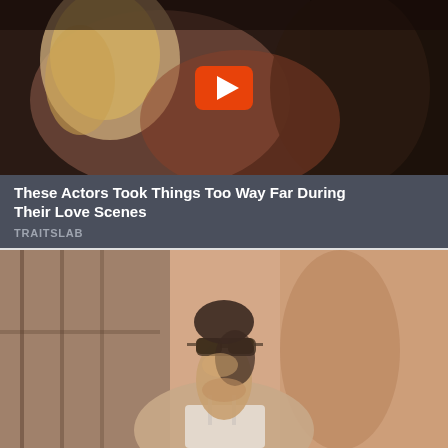[Figure (photo): Video thumbnail showing two people in an intimate scene with a YouTube-style play button overlay]
These Actors Took Things Too Way Far During Their Love Scenes
TRAITSLAB
[Figure (photo): Woman with sunglasses looking up, wearing a white swimsuit top, outdoors]